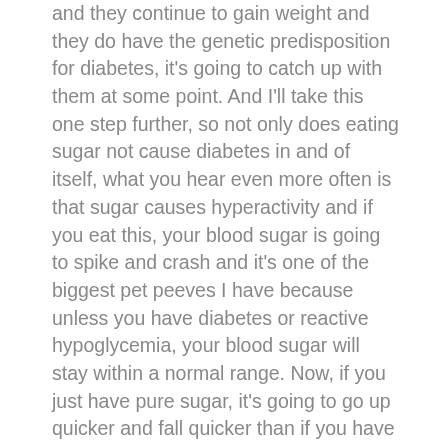and they continue to gain weight and they do have the genetic predisposition for diabetes, it's going to catch up with them at some point. And I'll take this one step further, so not only does eating sugar not cause diabetes in and of itself, what you hear even more often is that sugar causes hyperactivity and if you eat this, your blood sugar is going to spike and crash and it's one of the biggest pet peeves I have because unless you have diabetes or reactive hypoglycemia, your blood sugar will stay within a normal range. Now, if you just have pure sugar, it's going to go up quicker and fall quicker than if you have a mixed meal, like for example, ice cream. We would actually tell patients with gestational diabetes, one endocrinologist that I worked with said, at bedtime have a ½ cup of regular ice cream because with the right combination of...